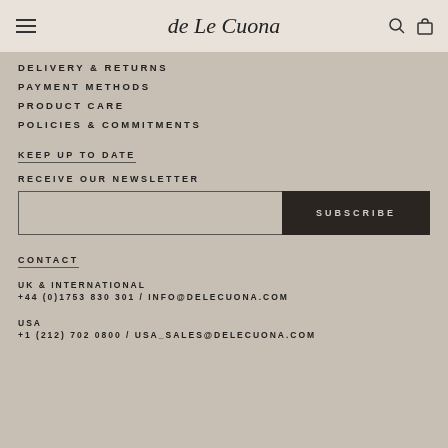de Le Cuona
DELIVERY & RETURNS
PAYMENT METHODS
PRODUCT CARE
POLICIES & COMMITMENTS
KEEP UP TO DATE
RECEIVE OUR NEWSLETTER
CONTACT
UK & INTERNATIONAL
+44 (0)1753 830 301 / INFO@DELECUONA.COM
USA
+1 (212) 702 0800 / USA_SALES@DELECUONA.COM